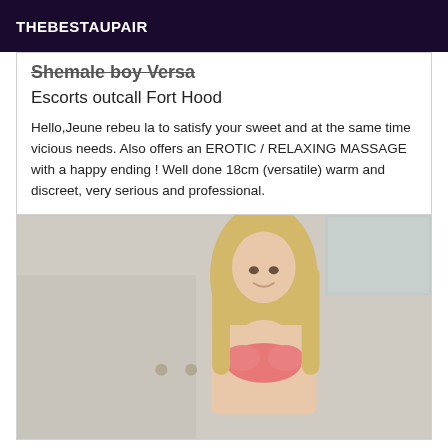THEBESTAUPAIR
Shemale boy Versa
Escorts outcall Fort Hood
Hello,Jeune rebeu la to satisfy your sweet and at the same time vicious needs. Also offers an EROTIC / RELAXING MASSAGE with a happy ending ! Well done 18cm (versatile) warm and discreet, very serious and professional.
[Figure (photo): Photo of a blonde woman in a pink bikini top standing in a bathroom/indoor setting with light-colored walls and a window visible in the background.]